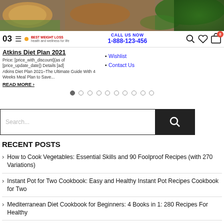[Figure (photo): Hero image of food - salmon, vegetables, bread on dark background]
03 ≡ [logo] | CALL US NOW 1-888-123-456 | [search icon] [heart icon] [cart icon with 0]
Atkins Diet Plan 2021
Price: [price_with_discount](as of [price_update_date]) Details [ad]
Atkins Diet Plan 2021–The Ultimate Guide With 4 Weeks Meal Plan to Save...
READ MORE ›
Wishlist
Contact Us
Carousel dots (10 dots, first active)
Search...
RECENT POSTS
How to Cook Vegetables: Essential Skills and 90 Foolproof Recipes (with 270 Variations)
Instant Pot for Two Cookbook: Easy and Healthy Instant Pot Recipes Cookbook for Two
Mediterranean Diet Cookbook for Beginners: 4 Books in 1: 280 Recipes For Healthy